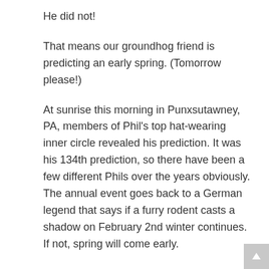He did not!
That means our groundhog friend is predicting an early spring. (Tomorrow please!)
At sunrise this morning in Punxsutawney, PA, members of Phil's top hat-wearing inner circle revealed his prediction. It was his 134th prediction, so there have been a few different Phils over the years obviously. The annual event goes back to a German legend that says if a furry rodent casts a shadow on February 2nd winter continues. If not, spring will come early.
I'll let you in on a secret,...Phil's prediction is decided ahead of time by the group on a tiny hill just outside of Punsxutawney called Gobbler's Knob. It is located about 65 miles northeast of Pittsburgh.
In reality, my meteorologist friends will all tell you that